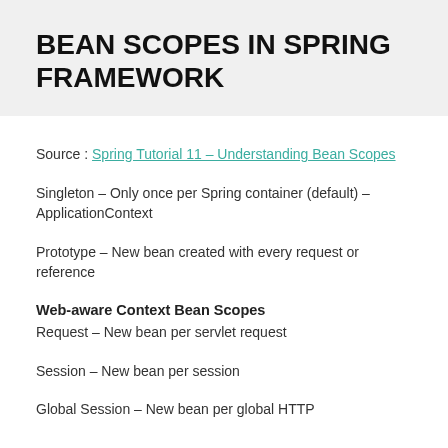BEAN SCOPES IN SPRING FRAMEWORK
Source : Spring Tutorial 11 – Understanding Bean Scopes
Singleton – Only once per Spring container (default) – ApplicationContext
Prototype – New bean created with every request or reference
Web-aware Context Bean Scopes
Request – New bean per servlet request
Session – New bean per session
Global Session – New bean per global HTTP